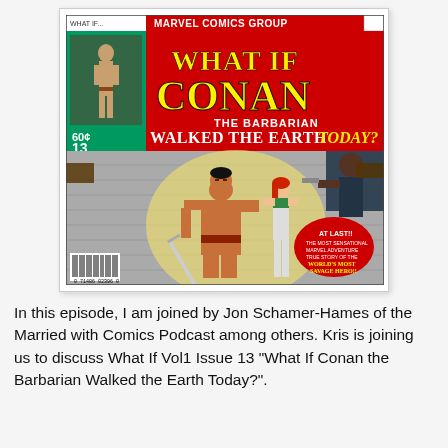[Figure (illustration): Marvel Comics comic book cover: 'What If Conan the Barbarian Walked the Earth Today?' Issue 13, 60 cents, featuring Conan wielding a sword alongside a red-haired woman, set against a brick wall background. Includes Marvel Comics Group banner at top and 'At Last!!' badge.]
In this episode, I am joined by Jon Schamer-Hames of the Married with Comics Podcast among others. Kris is joining us to discuss What If Vol1 Issue 13 "What If Conan the Barbarian Walked the Earth Today?".